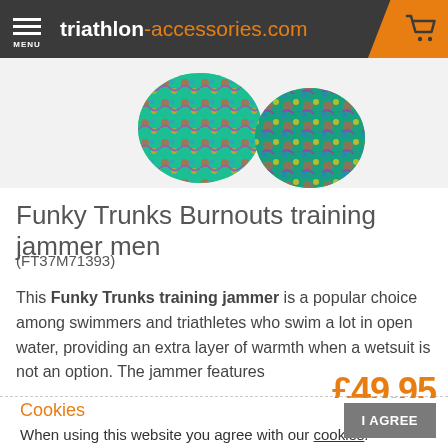triathlon-accessories.com
[Figure (photo): Partial view of colorful Funky Trunks swimming jammer with tropical/neon pattern]
Funky Trunks Burnouts training jammer men
(FT37M71393)
This Funky Trunks training jammer is a popular choice among swimmers and triathletes who swim a lot in open water, providing an extra layer of warmth when a wetsuit is not an option. The jammer features
£49.95
Cookies
When using this website you agree with our cookies.